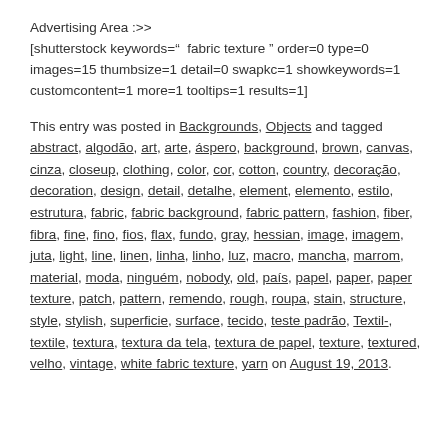Advertising Area :>>
[shutterstock keywords="  fabric texture " order=0 type=0 images=15 thumbsize=1 detail=0 swapkc=1 showkeywords=1 customcontent=1 more=1 tooltips=1 results=1]
This entry was posted in Backgrounds, Objects and tagged abstract, algodão, art, arte, áspero, background, brown, canvas, cinza, closeup, clothing, color, cor, cotton, country, decoração, decoration, design, detail, detalhe, element, elemento, estilo, estrutura, fabric, fabric background, fabric pattern, fashion, fiber, fibra, fine, fino, fios, flax, fundo, gray, hessian, image, imagem, juta, light, line, linen, linha, linho, luz, macro, mancha, marrom, material, moda, ninguém, nobody, old, país, papel, paper, paper texture, patch, pattern, remendo, rough, roupa, stain, structure, style, stylish, superficie, surface, tecido, teste padrão, Textil-, textile, textura, textura da tela, textura de papel, texture, textured, velho, vintage, white fabric texture, yarn on August 19, 2013.